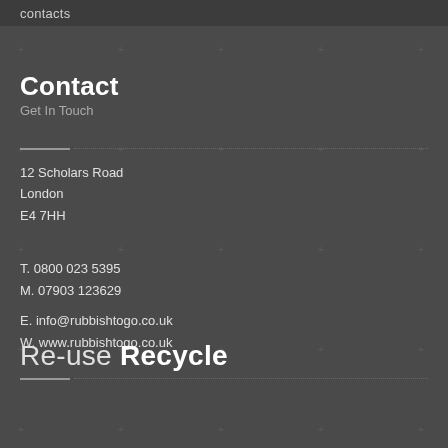contacts
Contact
Get In Touch
12 Scholars Road
London
E4 7HH
T. 0800 023 5395
M. 07903 123629
E. info@rubbishtogo.co.uk
W. www.rubbishtogo.co.uk
Re-use Recycle